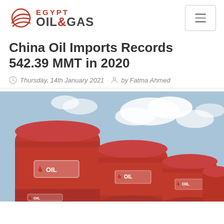Egypt Oil & Gas
China Oil Imports Records 542.39 MMT in 2020
Thursday, 14th January 2021  by Fatma Ahmed
[Figure (photo): Red oil barrels/drums stacked against a blue sky with clouds, with OIL labels visible on the barrels]